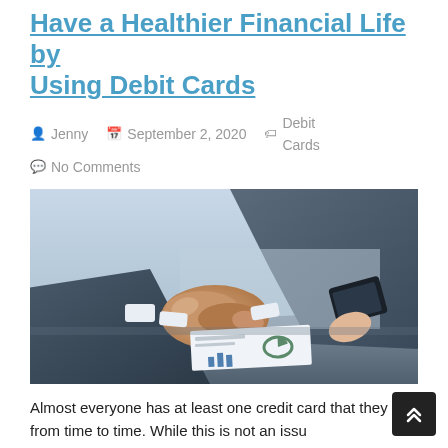Have a Healthier Financial Life by Using Debit Cards
Jenny   September 2, 2020   Debit Cards   No Comments
[Figure (photo): Two businessmen in suits shaking hands across a table, with a person holding a tablet in the background and financial documents/charts on the table.]
Almost everyone has at least one credit card that they use from time to time. While this is not an issu...